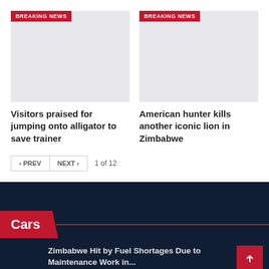[Figure (photo): Breaking news image placeholder (light gray rectangle) with red BREAKING NEWS badge]
[Figure (photo): Breaking news image placeholder (light gray rectangle) with red BREAKING NEWS badge]
Visitors praised for jumping onto alligator to save trainer
American hunter kills another iconic lion in Zimbabwe
< PREV   NEXT >   1 of 12
Cars
Zimbabwe Hit by Fuel Shortages Due to Maintenance Work in...